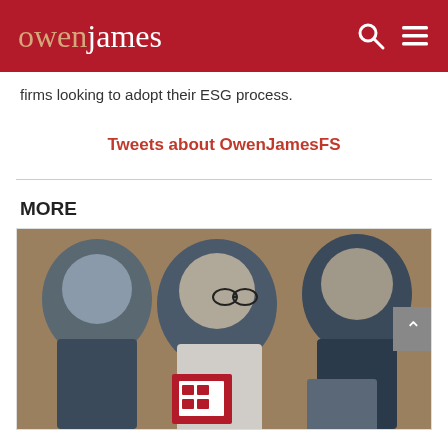owenjames
firms looking to adopt their ESG process.
Tweets about OwenJamesFS
MORE
[Figure (photo): Business professionals seated in a conference, reading documents with red and white covers.]